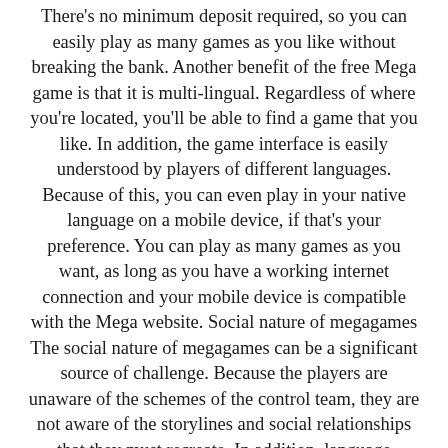There's no minimum deposit required, so you can easily play as many games as you like without breaking the bank. Another benefit of the free Mega game is that it is multi-lingual. Regardless of where you're located, you'll be able to find a game that you like. In addition, the game interface is easily understood by players of different languages. Because of this, you can even play in your native language on a mobile device, if that's your preference. You can play as many games as you want, as long as you have a working internet connection and your mobile device is compatible with the Mega website. Social nature of megagames The social nature of megagames can be a significant source of challenge. Because the players are unaware of the schemes of the control team, they are not aware of the storylines and social relationships that they must recreate. In addition, language barriers and accessibility concerns may limit participation. Even so, the player experience is often enough to keep players coming back for more.